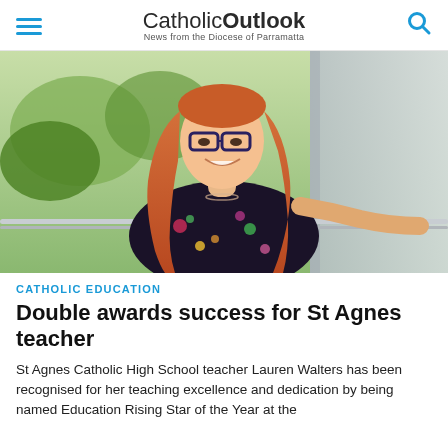Catholic Outlook — News from the Diocese of Parramatta
[Figure (photo): Portrait photo of Lauren Walters, a young woman with long red hair and glasses wearing a dark floral dress, standing on a balcony with a green outdoor background.]
CATHOLIC EDUCATION
Double awards success for St Agnes teacher
St Agnes Catholic High School teacher Lauren Walters has been recognised for her teaching excellence and dedication by being named Education Rising Star of the Year at the